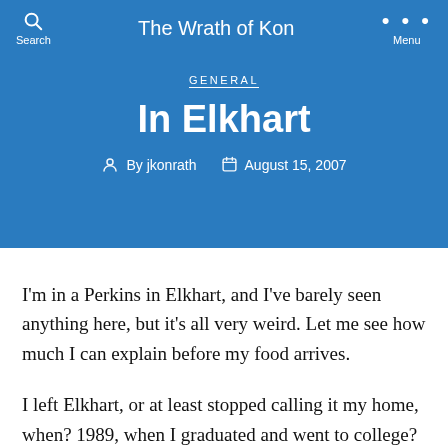The Wrath of Kon
GENERAL
In Elkhart
By jkonrath   August 15, 2007
I'm in a Perkins in Elkhart, and I've barely seen anything here, but it's all very weird. Let me see how much I can explain before my food arrives.
I left Elkhart, or at least stopped calling it my home, when? 1989, when I graduated and went to college?